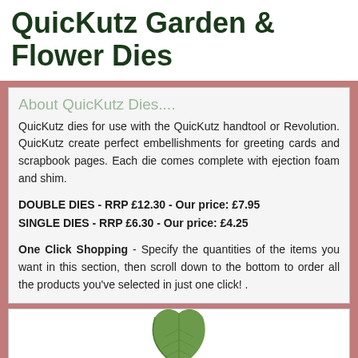QuicKutz Garden & Flower Dies
About QuicKutz Dies....
QuicKutz dies for use with the QuicKutz handtool or Revolution. QuicKutz create perfect embellishments for greeting cards and scrapbook pages. Each die comes complete with ejection foam and shim.
DOUBLE DIES - RRP £12.30 - Our price: £7.95
SINGLE DIES - RRP £6.30 - Our price: £4.25
One Click Shopping - Specify the quantities of the items you want in this section, then scroll down to the bottom to order all the products you've selected in just one click! .
[Figure (illustration): Green leaf illustration at the bottom of the page]